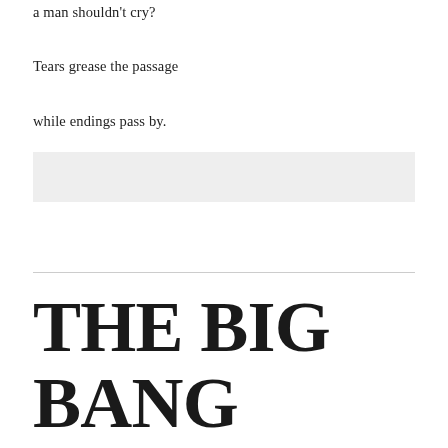a man shouldn't cry?
Tears grease the passage
while endings pass by.
[Figure (other): Gray rectangular placeholder box]
THE BIG BANG